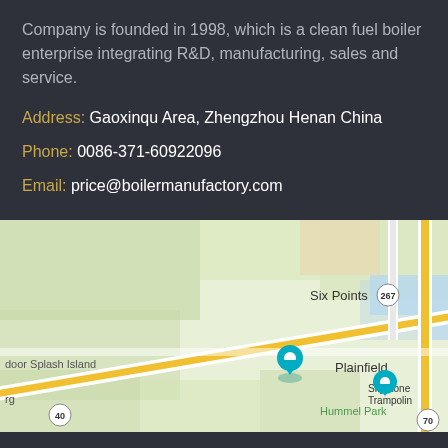Company is founded in 1998, which is a clean fuel boiler enterprise integrating R&D, manufacturing, sales and service.
Address: Gaoxinqu Area, Zhengzhou Henan China
Phone: 0086-371-60922096
Email: price@boilermanufactory.com
[Figure (map): Google Maps view showing Plainfield area with roads including Route 267, Route 40, Route 70, Quaker Blvd, Six Points label, Door Splash Island, Hummel Park, Sky Zone Trampoline, and a location pin marker.]